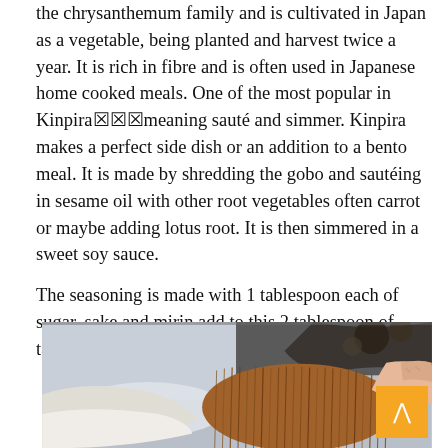the chrysanthemum family and is cultivated in Japan as a vegetable, being planted and harvest twice a year. It is rich in fibre and is often used in Japanese home cooked meals. One of the most popular in Kinpira⬛⬛ meaning sauté and simmer. Kinpira makes a perfect side dish or an addition to a bento meal. It is made by shredding the gobo and sautéing in sesame oil with other root vegetables often carrot or maybe adding lotus root. It is then simmered in a sweet soy sauce.
The seasoning is made with 1 tablespoon each of sugar, sake and mirin add to this 2 tablespoon of tamari or soy sauce. Set this aside.
[Figure (photo): A photo showing a hand holding a natural fiber brush (coconut coir scrubbing brush) near what appears to be gobo (burdock root) being cleaned in a sink or on a dark surface. The image is cropped and shows the bottom portion of the page.]